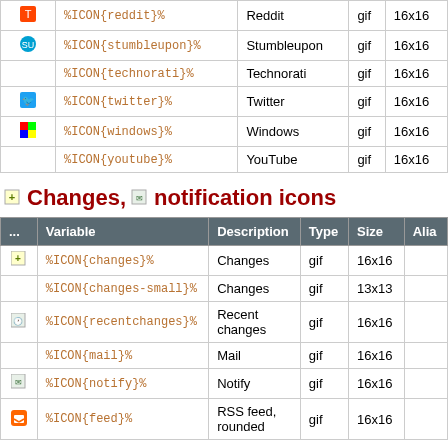|  | Variable | Description | Type | Size |
| --- | --- | --- | --- | --- |
| [reddit icon] | %ICON{reddit}% | Reddit | gif | 16x16 |
| [stumbleupon icon] | %ICON{stumbleupon}% | Stumbleupon | gif | 16x16 |
|  | %ICON{technorati}% | Technorati | gif | 16x16 |
| [twitter icon] | %ICON{twitter}% | Twitter | gif | 16x16 |
| [windows icon] | %ICON{windows}% | Windows | gif | 16x16 |
|  | %ICON{youtube}% | YouTube | gif | 16x16 |
Changes, notification icons
|  | Variable | Description | Type | Size | Alia... |
| --- | --- | --- | --- | --- | --- |
| [changes icon] | %ICON{changes}% | Changes | gif | 16x16 |  |
|  | %ICON{changes-small}% | Changes | gif | 13x13 |  |
| [recentchanges icon] | %ICON{recentchanges}% | Recent changes | gif | 16x16 |  |
|  | %ICON{mail}% | Mail | gif | 16x16 |  |
| [notify icon] | %ICON{notify}% | Notify | gif | 16x16 |  |
| [feed icon] | %ICON{feed}% | RSS feed, rounded | gif | 16x16 |  |